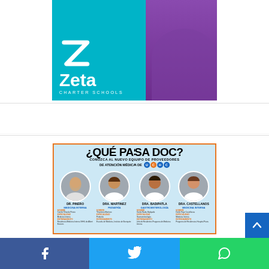[Figure (illustration): Zeta Charter Schools advertisement banner with teal background, Z logo on left, and child in purple shirt on right]
[Figure (infographic): ¿Qué Pasa Doc? medical advertisement showing four doctors: Dr. Pinero (Medicina Interna), Dra. Martinez (Pediatria), Dra. Badipatla (Gastroenterologia), Dra. Castellanos (Medicina Interna) from UCHC]
[Figure (other): Social media sharing bar with Facebook, Twitter, and WhatsApp buttons]